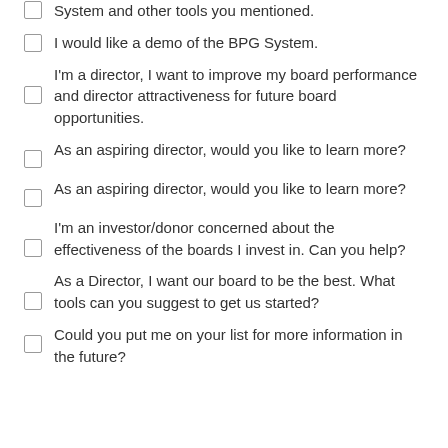System and other tools you mentioned.
I would like a demo of the BPG System.
I'm a director, I want to improve my board performance and director attractiveness for future board opportunities.
As an aspiring director, would you like to learn more?
As an aspiring director, would you like to learn more?
I'm an investor/donor concerned about the effectiveness of the boards I invest in. Can you help?
As a Director, I want our board to be the best. What tools can you suggest to get us started?
Could you put me on your list for more information in the future?